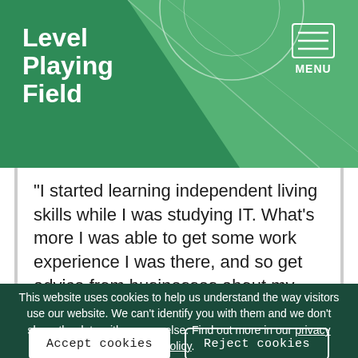Level Playing Field
“I started learning independent living skills while I was studying IT. What’s more I was able to get some work experience I was there, and so get advice from businesses about my
This website uses cookies to help us understand the way visitors use our website. We can’t identify you with them and we don’t share the data with anyone else. Find out more in our privacy policy.
Accept cookies | Reject cookies